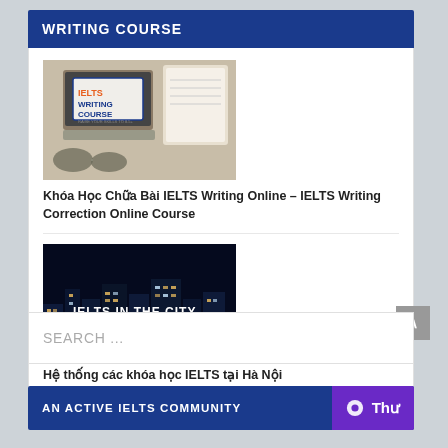WRITING COURSE
[Figure (photo): IELTS Writing Course thumbnail image showing a laptop and notebook on a desk with text 'IELTS WRITING COURSE']
Khóa Học Chữa Bài IELTS Writing Online – IELTS Writing Correction Online Course
[Figure (photo): IELTS In The City thumbnail image showing a city skyline at night with text 'IELTS IN THE CITY']
Hệ thống các khóa học IELTS tại Hà Nội
SEARCH ...
AN ACTIVE IELTS COMMUNITY  Thư